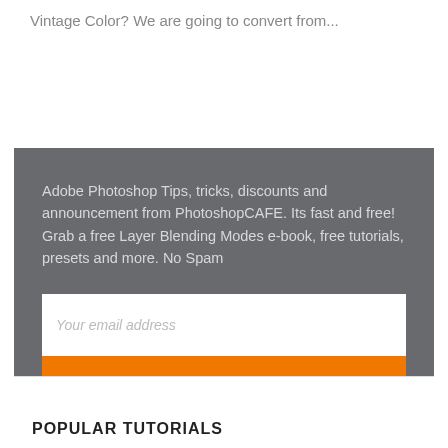Vintage Color? We are going to convert from...
Adobe Photoshop Tips, tricks, discounts and announcement from PhotoshopCAFE. Its fast and free! Grab a free Layer Blending Modes e-book, free tutorials, presets and more. No Spam
Your email address
JOIN
POPULAR TUTORIALS